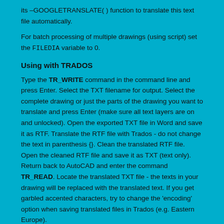its –GOOGLETRANSLATE( ) function to translate this text file automatically.
For batch processing of multiple drawings (using script) set the FILEDIA variable to 0.
Using with TRADOS
Type the TR_WRITE command in the command line and press Enter. Select the TXT filename for output. Select the complete drawing or just the parts of the drawing you want to translate and press Enter (make sure all text layers are on and unlocked). Open the exported TXT file in Word and save it as RTF. Translate the RTF file with Trados - do not change the text in parenthesis {}. Clean the translated RTF file. Open the cleaned RTF file and save it as TXT (text only). Return back to AutoCAD and enter the command TR_READ. Locate the translated TXT file - the texts in your drawing will be replaced with the translated text. If you get garbled accented characters, try to change the 'encoding' option when saving translated files in Trados (e.g. Eastern Europe).
2. Automatic translation